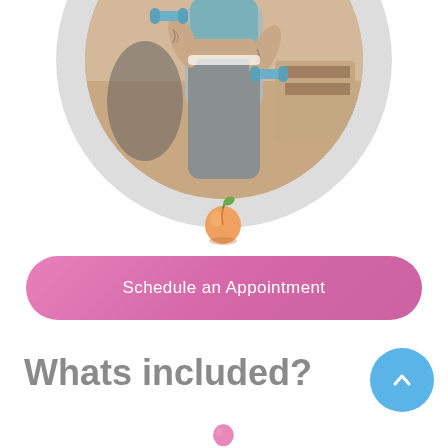[Figure (photo): Circular framed photo of a woman in gray athletic wear holding blue dumbbells, with tattoos on her arm, exercising indoors]
[Figure (illustration): Small peach emoji icon below the circular photo]
Schedule an Appointment
Whats included?
[Figure (illustration): Blue circular scroll-up button with upward chevron arrow]
[Figure (illustration): Partial pink/peach circular icon visible at the bottom of the page]